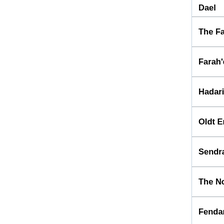| Region | Locations |
| --- | --- |
| Dael | • Kharia • Tolca M... |
| The Far West | • Sundial Isles • R... |
| Farah'deen | • Farah'deen • |
| Hadaria | • Hadar • |
| Oldt Era | • Old Ceardia • Ca... |
| Sendrass | • Sendras • Solang... |
| The North Belt | • Jorrhildr • Cain • |
| Fendarfelle | • Fendarfelle • |
| The Far North | • The Northern Ex... |
| The Far East | • Zhong • |
Accreditation
Writers  0romir   Last  The
Processors  Terence29,  Editor  Shadow